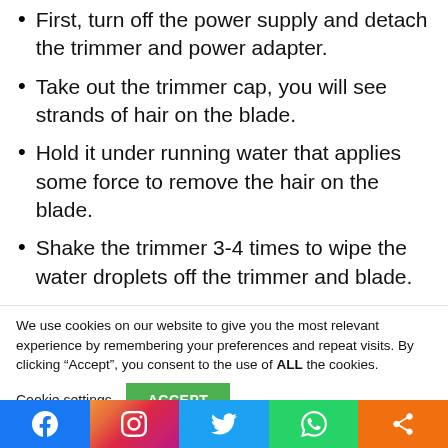First, turn off the power supply and detach the trimmer and power adapter.
Take out the trimmer cap, you will see strands of hair on the blade.
Hold it under running water that applies some force to remove the hair on the blade.
Shake the trimmer 3-4 times to wipe the water droplets off the trimmer and blade.
Now put it on a towel and let it dry for some time.
We use cookies on our website to give you the most relevant experience by remembering your preferences and repeat visits. By clicking “Accept”, you consent to the use of ALL the cookies.
Cookie settings | ACCEPT